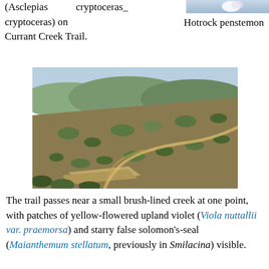(Asclepias cryptoceras) on Currant Creek Trail.
cryptoceras_
[Figure (photo): Top-right corner partial photo of Hotrock penstemon flower]
Hotrock penstemon
[Figure (photo): Aerial or elevated view of a hillside trail winding through brush-covered terrain with a valley in the background]
The trail passes near a small brush-lined creek at one point, with patches of yellow-flowered upland violet (Viola nuttallii var. praemorsa) and starry false solomon's-seal (Maianthemum stellatum, previously in Smilacina) visible.